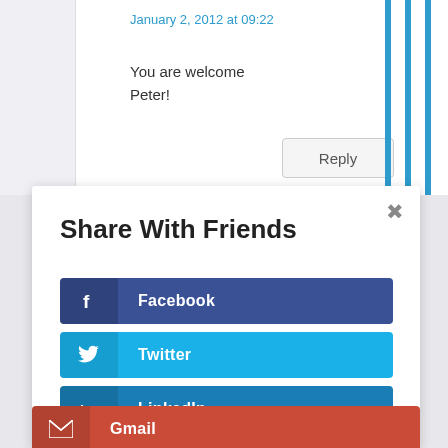January 2, 2012 at 09:22
You are welcome Peter!
Reply
Share With Friends
Facebook
Twitter
LinkedIn
Gmail